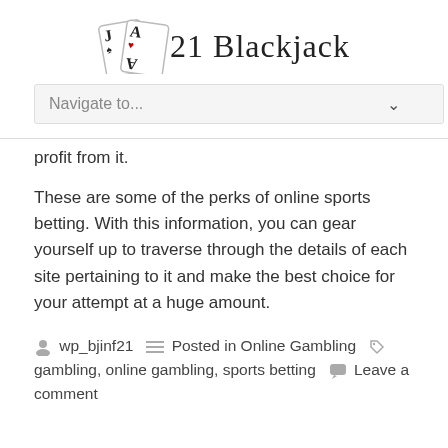[Figure (logo): JA21 Blackjack logo with two playing cards (Jack of Spades and Ace of Hearts) and the text '21 Blackjack']
[Figure (screenshot): Navigation dropdown selector with placeholder text 'Navigate to...' and a chevron arrow]
profit from it.
These are some of the perks of online sports betting. With this information, you can gear yourself up to traverse through the details of each site pertaining to it and make the best choice for your attempt at a huge amount.
wp_bjinf21   Posted in Online Gambling   gambling, online gambling, sports betting   Leave a comment